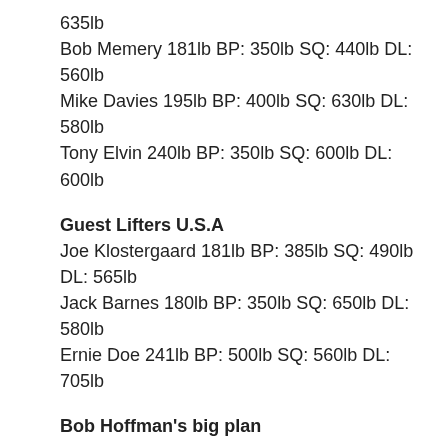635lb
Bob Memery 181lb BP: 350lb SQ: 440lb DL: 560lb
Mike Davies 195lb BP: 400lb SQ: 630lb DL: 580lb
Tony Elvin 240lb BP: 350lb SQ: 600lb DL: 600lb
Guest Lifters U.S.A
Joe Klostergaard 181lb BP: 385lb SQ: 490lb DL: 565lb
Jack Barnes 180lb BP: 350lb SQ: 650lb DL: 580lb
Ernie Doe 241lb BP: 500lb SQ: 560lb DL: 705lb
Bob Hoffman's big plan